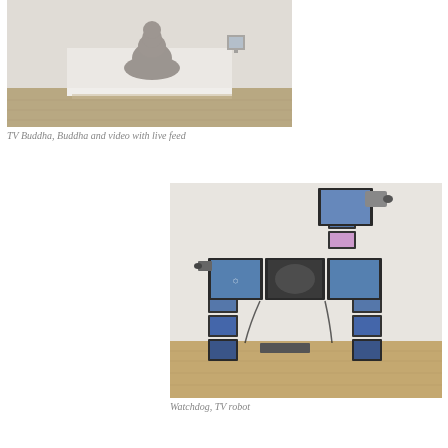[Figure (photo): A dark brown Buddha statue sitting on a white pedestal in a gallery. On the same pedestal, a small TV monitor shows the Buddha's live feed image. White gallery walls and wooden floor in background.]
TV Buddha, Buddha and video with live feed
[Figure (photo): An art installation called Watchdog consisting of multiple small television monitors arranged to form the shape of a dog/robot. The monitors display various images including blue and white footage. The structure stands on a wooden floor with cables visible.]
Watchdog, TV robot